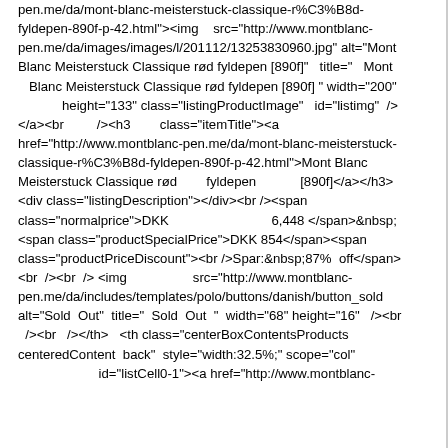pen.me/da/mont-blanc-meisterstuck-classique-r%C3%B8d-fyldepen-890f-p-42.html"><img src="http://www.montblanc-pen.me/da/images/images/l/201112/13253830960.jpg" alt="Mont Blanc Meisterstuck Classique rød fyldepen [890f]" title=" Mont Blanc Meisterstuck Classique rød fyldepen [890f] " width="200" height="133" class="listingProductImage" id="listimg" /></a><br /><h3 class="itemTitle"><a href="http://www.montblanc-pen.me/da/mont-blanc-meisterstuck-classique-r%C3%B8d-fyldepen-890f-p-42.html">Mont Blanc Meisterstuck Classique rød fyldepen [890f]</a></h3><div class="listingDescription"></div><br /><span class="normalprice">DKK 6,448 </span>&nbsp;<span class="productSpecialPrice">DKK 854</span><span class="productPriceDiscount"><br />Spar:&nbsp;87% off</span><br /><br /> <img src="http://www.montblanc-pen.me/da/includes/templates/polo/buttons/danish/button_sold alt="Sold Out" title=" Sold Out " width="68" height="16" /><br /><br /></th> <th class="centerBoxContentsProducts centeredContent back" style="width:32.5%;" scope="col" id="listCell0-1"><a href="http://www.montblanc-